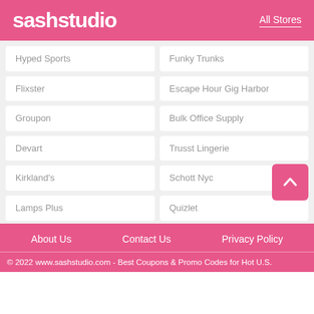sashstudio   All Stores
Hyped Sports
Funky Trunks
Flixster
Escape Hour Gig Harbor
Groupon
Bulk Office Supply
Devart
Trusst Lingerie
Kirkland's
Schott Nyc
Lamps Plus
Quizlet
About Us   Contact Us   Privacy Policy
© 2022 www.sashstudio.com - Best Coupons & Promo Codes for Hot U.S.